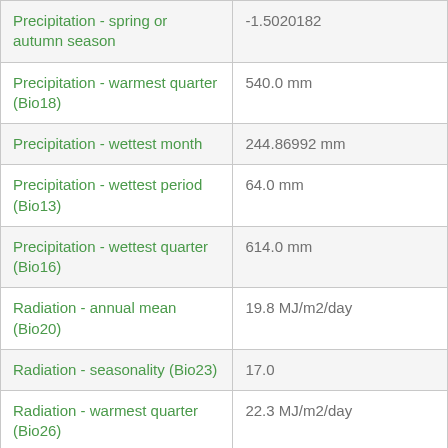| Variable | Value |
| --- | --- |
| Precipitation - spring or autumn season | -1.5020182 |
| Precipitation - warmest quarter (Bio18) | 540.0 mm |
| Precipitation - wettest month | 244.86992 mm |
| Precipitation - wettest period (Bio13) | 64.0 mm |
| Precipitation - wettest quarter (Bio16) | 614.0 mm |
| Radiation - annual mean (Bio20) | 19.8 MJ/m2/day |
| Radiation - seasonality (Bio23) | 17.0 |
| Radiation - warmest quarter (Bio26) | 22.3 MJ/m2/day |
| Temperature - annual max mean | 24.525 degrees C |
| Temperature - annual mean (Bio01) | 19.9 degrees C |